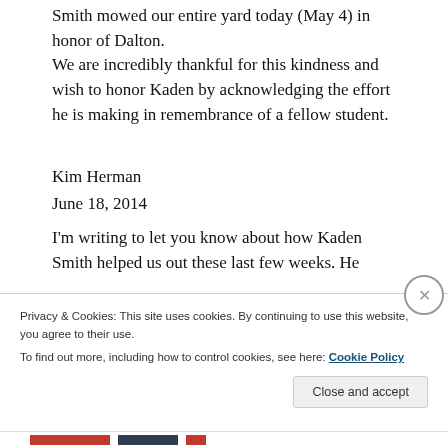Smith mowed our entire yard today (May 4) in honor of Dalton. We are incredibly thankful for this kindness and wish to honor Kaden by acknowledging the effort he is making in remembrance of a fellow student.
Kim Herman
June 18, 2014
I'm writing to let you know about how Kaden Smith helped us out these last few weeks. He
Privacy & Cookies: This site uses cookies. By continuing to use this website, you agree to their use.
To find out more, including how to control cookies, see here: Cookie Policy
Close and accept